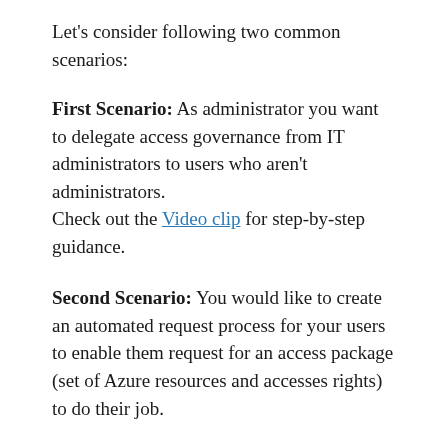Let's consider following two common scenarios:
First Scenario: As administrator you want to delegate access governance from IT administrators to users who aren't administrators.
Check out the Video clip for step-by-step guidance.
Second Scenario: You would like to create an automated request process for your users to enable them request for an access package (set of Azure resources and accesses rights) to do their job.